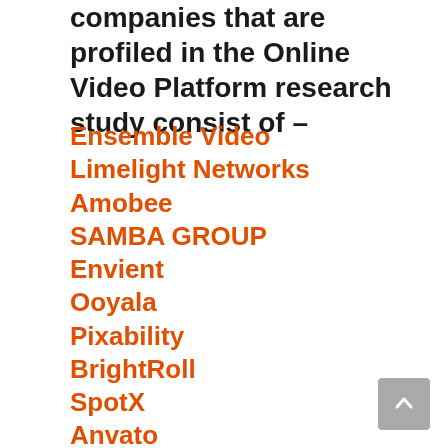companies that are profiled in the Online Video Platform research study consist of –
Ensemble Video
Limelight Networks
Amobee
SAMBA GROUP
Envient
Ooyala
Pixability
BrightRoll
SpotX
Anvato
Kaltura
YouTube
Comcast Technology Solutions
Media S…